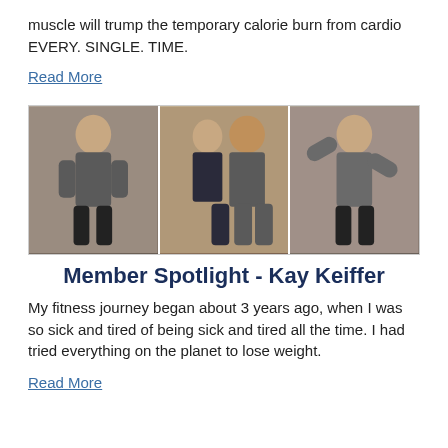muscle will trump the temporary calorie burn from cardio EVERY. SINGLE. TIME.
Read More
[Figure (photo): Three photos side by side: left photo shows a fit woman in a gray tank top posing, middle photo shows a couple at a formal event, right photo shows the same fit woman flexing her arms.]
Member Spotlight - Kay Keiffer
My fitness journey began about 3 years ago, when I was so sick and tired of being sick and tired all the time. I had tried everything on the planet to lose weight.
Read More